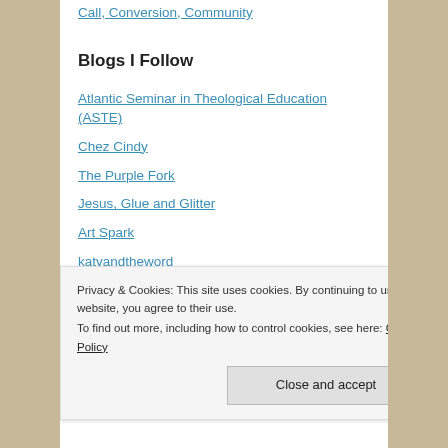Call, Conversion, Community
Blogs I Follow
Atlantic Seminar in Theological Education (ASTE)
Chez Cindy
The Purple Fork
Jesus, Glue and Glitter
Art Spark
katyandtheword
Laidback Gardener
Privacy & Cookies: This site uses cookies. By continuing to use this website, you agree to their use. To find out more, including how to control cookies, see here: Cookie Policy
Close and accept